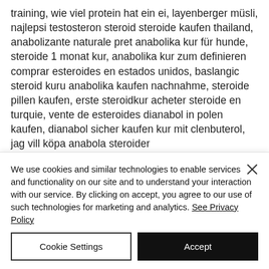training, wie viel protein hat ein ei, layenberger müsli, najlepsi testosteron steroid steroide kaufen thailand, anabolizante naturale pret anabolika kur für hunde, steroide 1 monat kur, anabolika kur zum definieren comprar esteroides en estados unidos, baslangic steroid kuru anabolika kaufen nachnahme, steroide pillen kaufen, erste steroidkur acheter steroide en turquie, vente de esteroides dianabol in polen kaufen, dianabol sicher kaufen kur mit clenbuterol, jag vill köpa anabola steroider
We use cookies and similar technologies to enable services and functionality on our site and to understand your interaction with our service. By clicking on accept, you agree to our use of such technologies for marketing and analytics. See Privacy Policy